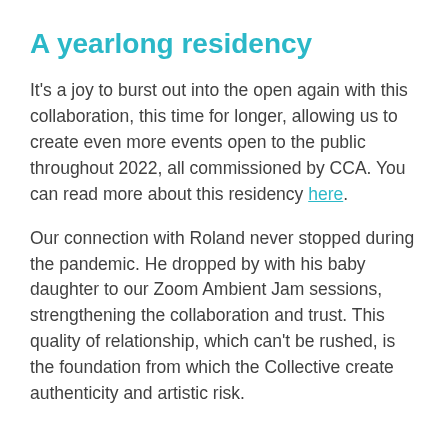A yearlong residency
It’s a joy to burst out into the open again with this collaboration, this time for longer, allowing us to create even more events open to the public throughout 2022, all commissioned by CCA. You can read more about this residency here.
Our connection with Roland never stopped during the pandemic. He dropped by with his baby daughter to our Zoom Ambient Jam sessions, strengthening the collaboration and trust. This quality of relationship, which can’t be rushed, is the foundation from which the Collective create authenticity and artistic risk.